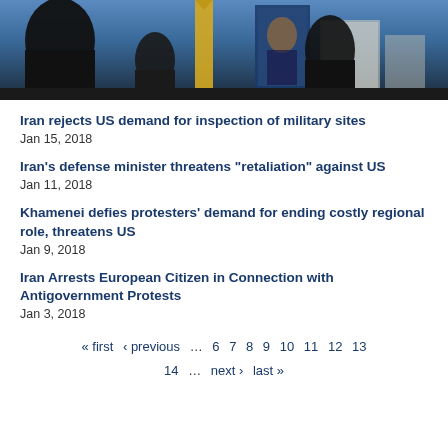[Figure (photo): News article image showing silhouetted figures near missiles or rockets with a portrait of a religious leader displayed on a structure, against a blue sky background]
Iran rejects US demand for inspection of military sites
Jan 15, 2018
Iran's defense minister threatens "retaliation" against US
Jan 11, 2018
Khamenei defies protesters' demand for ending costly regional role, threatens US
Jan 9, 2018
Iran Arrests European Citizen in Connection with Antigovernment Protests
Jan 3, 2018
« first ‹ previous … 6 7 8 9 10 11 12 13 14 … next › last »